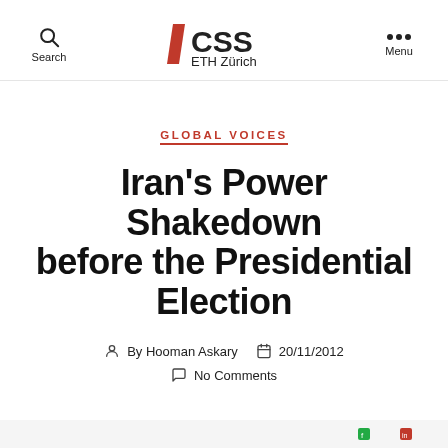Search | CSS ETH Zürich | Menu
GLOBAL VOICES
Iran's Power Shakedown before the Presidential Election
By Hooman Askary   20/11/2012
No Comments